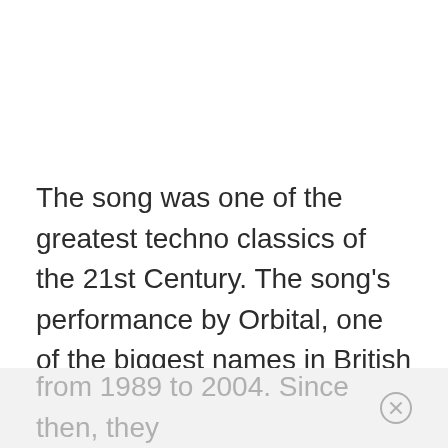The song was one of the greatest techno classics of the 21st Century. The song's performance by Orbital, one of the biggest names in British electronic music, brought their live improvisation during shows and concerts. It was one of the many reasons for their breakthrough from 1989 to 2004. Since then, they